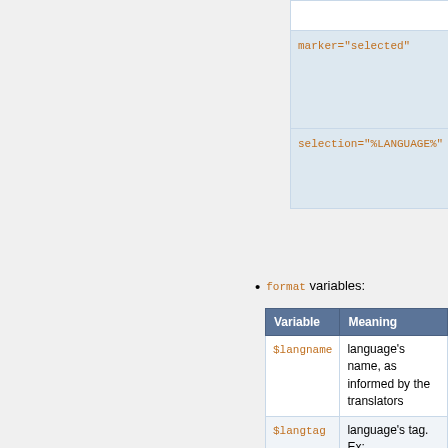|  |  |
| --- | --- |
|  | item |
| marker="selected" | Text
$ma
item
ma
sel |
| selection="%LANGUAGE%" | Cu
lan
be
in l |
format variables:
| Variable | Meaning |
| --- | --- |
| $langname | language's name, as informed by the translators |
| $langtag | language's tag. Ex:
en, pt-br, |